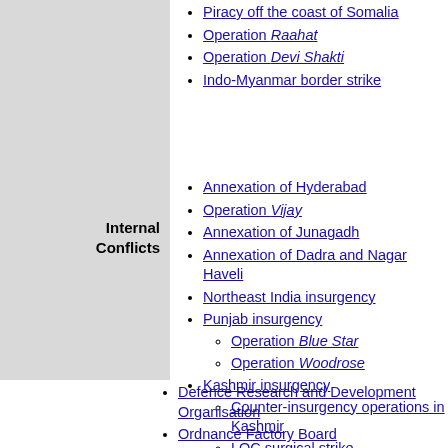Piracy off the coast of Somalia
Operation Raahat
Operation Devi Shakti
Indo-Myanmar border strike
Internal Conflicts
Annexation of Hyderabad
Operation Vijay
Annexation of Junagadh
Annexation of Dadra and Nagar Haveli
Northeast India insurgency
Punjab insurgency
Operation Blue Star
Operation Woodrose
Kashmir insurgency
Counter-insurgency operations in Kashmir
LOC surgical strike
Defence Research and Development Organisation
Ordnance Factory Board
Ballistic missiles
Weapons of mass destruction